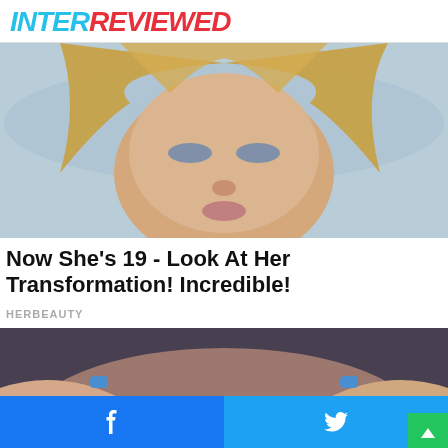INTERREVIEWED
[Figure (photo): Close-up photo of a young blonde girl with blue-grey eyes and windswept hair against a blurred outdoor background]
Now She's 19 - Look At Her Transformation! Incredible!
HERBEAUTY
[Figure (photo): Close-up photo of a woman's eyes with dramatic makeup, blue nail polish fingers framing her brows]
Facebook share | Twitter share